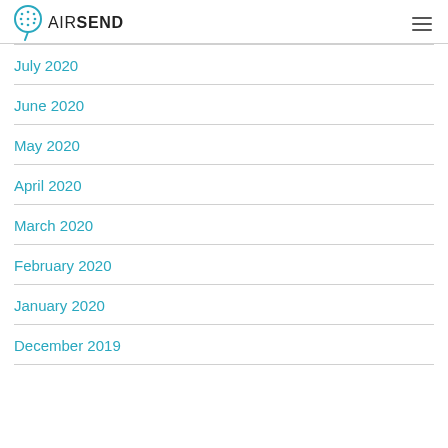AIRSEND
July 2020
June 2020
May 2020
April 2020
March 2020
February 2020
January 2020
December 2019